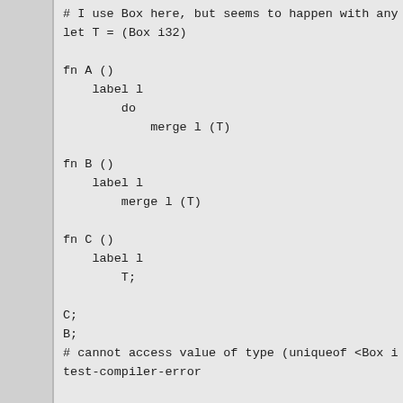# I use Box here, but seems to happen with any
let T = (Box i32)

fn A ()
    label l
        do
            merge l (T)

fn B ()
    label l
        merge l (T)

fn C ()
    label l
        T;

C;
B;
# cannot access value of type (uniqueof <Box i
test-compiler-error